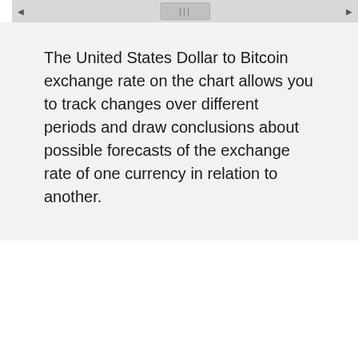[Figure (other): Horizontal scrollbar with left and right arrow buttons and a center drag handle]
The United States Dollar to Bitcoin exchange rate on the chart allows you to track changes over different periods and draw conclusions about possible forecasts of the exchange rate of one currency in relation to another.